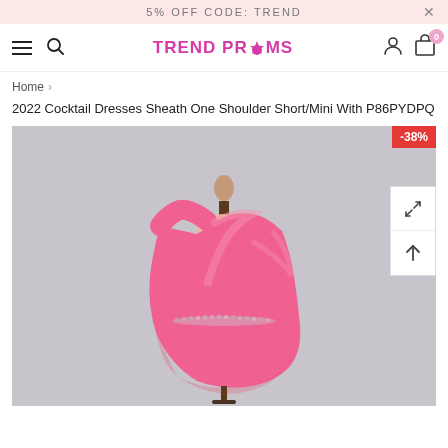5% OFF CODE: TREND
[Figure (logo): TREND PROMS logo with crown icon in pink/magenta color]
Home > 2022 Cocktail Dresses Sheath One Shoulder Short/Mini With P86PYDPQ
2022 Cocktail Dresses Sheath One Shoulder Short/Mini With P86PYDPQ
[Figure (photo): Pink/hot pink one-shoulder cocktail dress on a mannequin against a grey background, with beaded waist detail. Discount badge showing -38% in top right corner.]